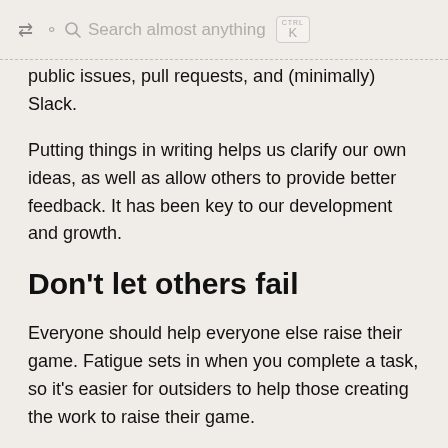Search almost anything  CTRL K
public issues, pull requests, and (minimally) Slack.
Putting things in writing helps us clarify our own ideas, as well as allow others to provide better feedback. It has been key to our development and growth.
Don't let others fail
Everyone should help everyone else raise their game. Fatigue sets in when you complete a task, so it's easier for outsiders to help those creating the work to raise their game.
We are direct about the quality of work. That doesn't